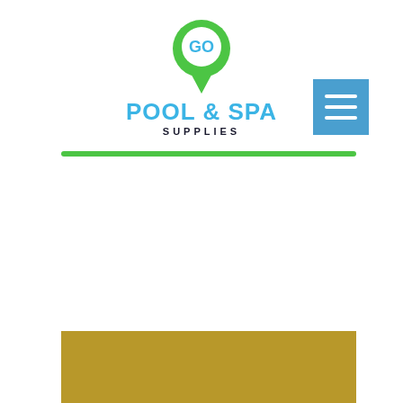[Figure (logo): Go Pool & Spa Supplies logo with green map pin icon and text 'POOL & SPA SUPPLIES']
[Figure (other): Blue hamburger menu button with three white horizontal lines]
[Figure (other): Green horizontal divider bar]
[Figure (other): Gold/tan colored banner at bottom of page]